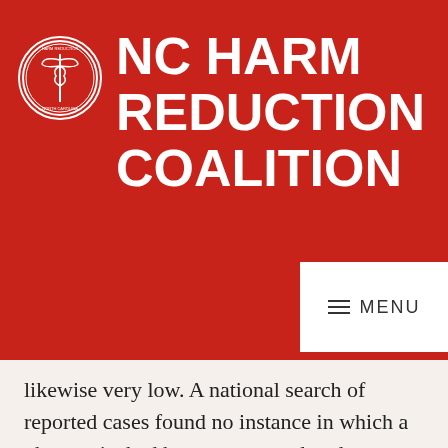NC HARM REDUCTION COALITION
[Figure (logo): North Carolina Harm Reduction Coalition circular logo with caduceus symbol]
≡ MENU
likewise very low. A national search of reported cases found no instance in which a pharmacist had been prosecuted under a paraphernalia law or pharmacy regulation for selling a syringe that was later used to inject drugs [14]. Additionally,